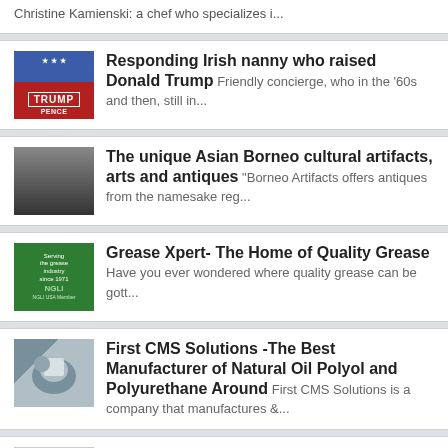Christine Kamienski: a chef who specializes i...
Responding Irish nanny who raised Donald Trump Friendly concierge, who in the '60s and then, still in...
The unique Asian Borneo cultural artifacts, arts and antiques “Borneo Artifacts offers antiques from the namesake reg...
Grease Xpert- The Home of Quality Grease Have you ever wondered where quality grease can be gott...
First CMS Solutions -The Best Manufacturer of Natural Oil Polyol and Polyurethane Around First CMS Solutions is a company that manufactures &...
Gamestrike Unleashes New Game Kill Shot Legacy for Digi Kuala Lumpur, Malaysia, June 08, 2018 --(PR.com)-- Gam...